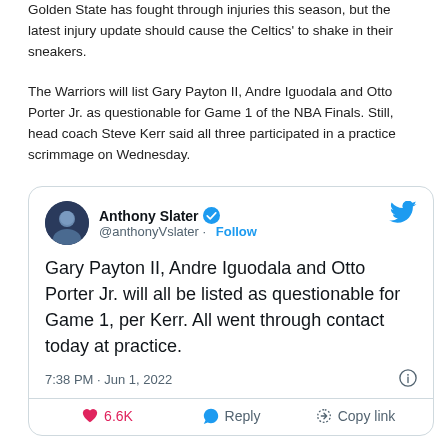Golden State has fought through injuries this season, but the latest injury update should cause the Celtics' to shake in their sneakers.
The Warriors will list Gary Payton II, Andre Iguodala and Otto Porter Jr. as questionable for Game 1 of the NBA Finals. Still, head coach Steve Kerr said all three participated in a practice scrimmage on Wednesday.
[Figure (screenshot): Embedded tweet from @anthonyVslater reading: 'Gary Payton II, Andre Iguodala and Otto Porter Jr. will all be listed as questionable for Game 1, per Kerr. All went through contact today at practice.' Posted 7:38 PM · Jun 1, 2022 with 6.6K likes, Reply, and Copy link actions.]